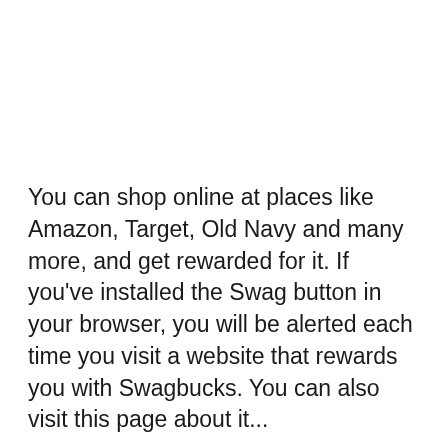You can shop online at places like Amazon, Target, Old Navy and many more, and get rewarded for it. If you've installed the Swag button in your browser, you will be alerted each time you visit a website that rewards you with Swagbucks. You can also visit this page about it...